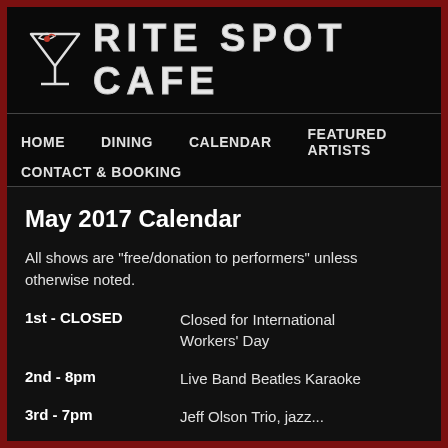[Figure (logo): Rite Spot Cafe logo with martini glass icon and stylized neon-outline text 'RITE SPOT CAFE']
HOME   DINING   CALENDAR   FEATURED ARTISTS   CONTACT & BOOKING
May 2017 Calendar
All shows are "free/donation to performers" unless otherwise noted.
1st - CLOSED    Closed for International Workers' Day
2nd - 8pm    Live Band Beatles Karaoke
3rd - 7pm    Jeff Olson Trio, jazz...